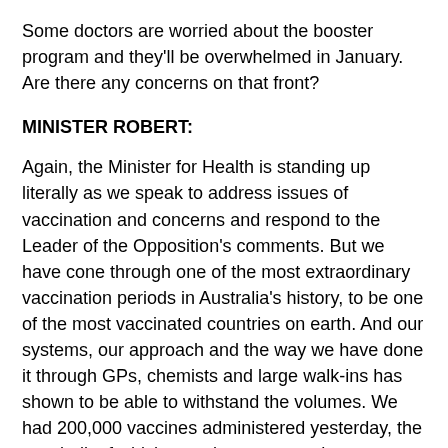Some doctors are worried about the booster program and they'll be overwhelmed in January. Are there any concerns on that front?
MINISTER ROBERT:
Again, the Minister for Health is standing up literally as we speak to address issues of vaccination and concerns and respond to the Leader of the Opposition's comments. But we have cone through one of the most extraordinary vaccination periods in Australia's history, to be one of the most vaccinated countries on earth. And our systems, our approach and the way we have done it through GPs, chemists and large walk-ins has shown to be able to withstand the volumes. We had 200,000 vaccines administered yesterday, the vast bulk of which were boosters, so they system is working well.
QUESTION:
On MH-17, the prosecutor has demanded life sentences